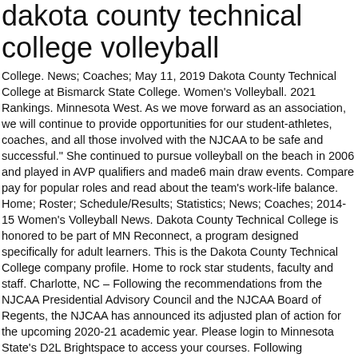dakota county technical college volleyball
College. News; Coaches; May 11, 2019 Dakota County Technical College at Bismarck State College. Women's Volleyball. 2021 Rankings. Minnesota West. As we move forward as an association, we will continue to provide opportunities for our student-athletes, coaches, and all those involved with the NJCAA to be safe and successful." She continued to pursue volleyball on the beach in 2006 and played in AVP qualifiers and made6 main draw events. Compare pay for popular roles and read about the team's work-life balance. Home; Roster; Schedule/Results; Statistics; News; Coaches; 2014-15 Women's Volleyball News. Dakota County Technical College is honored to be part of MN Reconnect, a program designed specifically for adult learners. This is the Dakota County Technical College company profile. Home to rock star students, faculty and staff. Charlotte, NC – Following the recommendations from the NJCAA Presidential Advisory Council and the NJCAA Board of Regents, the NJCAA has announced its adjusted plan of action for the upcoming 2020-21 academic year. Please login to Minnesota State's D2L Brightspace to access your courses. Following the recommendations from your state and local health authorities will